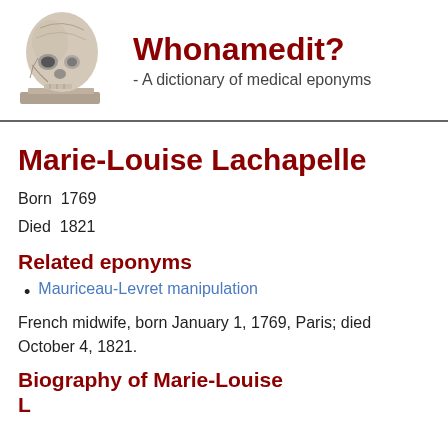Whonamedit? - A dictionary of medical eponyms
Marie-Louise Lachapelle
Born 1769
Died 1821
Related eponyms
Mauriceau-Levret manipulation
French midwife, born January 1, 1769, Paris; died October 4, 1821.
Biography of Marie-Louise Lachapelle